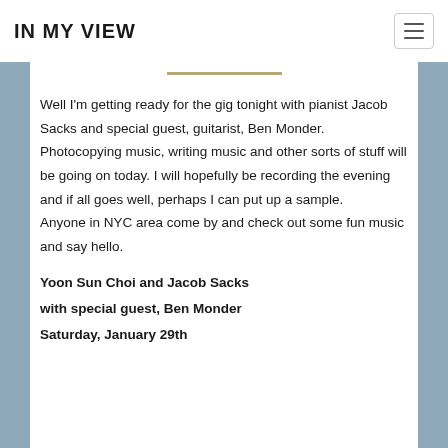IN MY VIEW
Well I'm getting ready for the gig tonight with pianist Jacob Sacks and special guest, guitarist, Ben Monder. Photocopying music, writing music and other sorts of stuff will be going on today. I will hopefully be recording the evening and if all goes well, perhaps I can put up a sample.
Anyone in NYC area come by and check out some fun music and say hello.
Yoon Sun Choi and Jacob Sacks
with special guest, Ben Monder
Saturday, January 29th